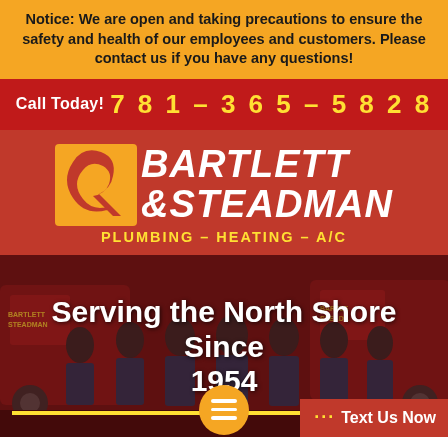Notice: We are open and taking precautions to ensure the safety and health of our employees and customers. Please contact us if you have any questions!
Call Today! 781-365-5828
[Figure (logo): Bartlett & Steadman Plumbing - Heating - A/C logo with ampersand icon on red background]
[Figure (photo): Team photo of Bartlett & Steadman employees standing in front of branded red vans]
Serving the North Shore Since 1954
··· Text Us Now